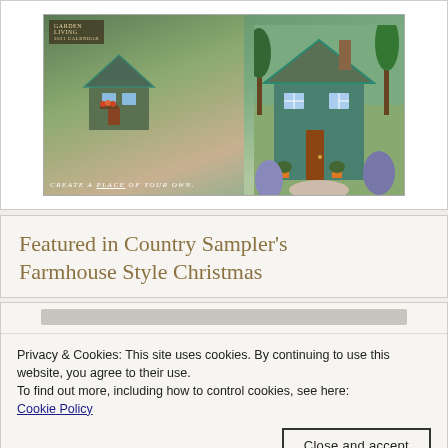[Figure (photo): Collage of cottage/shed garden photos with calendar overlay text reading 'Garden Living 2021 Calendar' and bottom text 'CREATE A place OF YOUR OWN.']
Featured in Country Sampler's Farmhouse Style Christmas
Privacy & Cookies: This site uses cookies. By continuing to use this website, you agree to their use.
To find out more, including how to control cookies, see here:
Cookie Policy
Close and accept